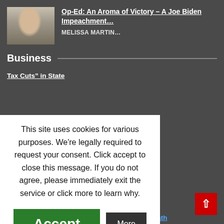[Figure (photo): Photo of Joe Biden in a suit, gesturing, in a formal setting]
Op-Ed: An Aroma of Victory – A Joe Biden Impeachment…
MELISSA MARTIN…
Business
Tax Cuts" in State
rs Receive Billions
and Birth of the
This site uses cookies for various purposes. We're legally required to request your consent. Click accept to close this message. If you do not agree, please immediately exit the service or click more to learn why.
Accept
More
Think of Others When Thinking of Life After Death